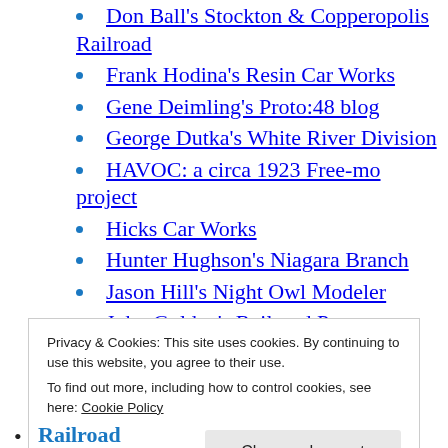Don Ball's Stockton & Copperopolis Railroad
Frank Hodina's Resin Car Works
Gene Deimling's Proto:48 blog
George Dutka's White River Division
HAVOC: a circa 1923 Free-mo project
Hicks Car Works
Hunter Hughson's Niagara Branch
Jason Hill's Night Owl Modeler
John Golden's Railroad Prototype Modeler
Lester Breuer's Minneapolis & Northland modeling
Privacy & Cookies: This site uses cookies. By continuing to use this website, you agree to their use.
To find out more, including how to control cookies, see here: Cookie Policy
Railroad